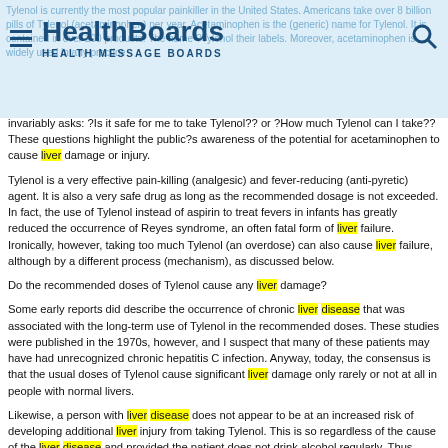[Figure (logo): HealthBoards Health Message Boards logo with hamburger menu and search icon on a light blue background]
invariably asks: ?Is it safe for me to take Tylenol?? or ?How much Tylenol can I take?? These questions highlight the public?s awareness of the potential for acetaminophen to cause liver damage or injury.
Tylenol is a very effective pain-killing (analgesic) and fever-reducing (anti-pyretic) agent. It is also a very safe drug as long as the recommended dosage is not exceeded. In fact, the use of Tylenol instead of aspirin to treat fevers in infants has greatly reduced the occurrence of Reyes syndrome, an often fatal form of liver failure. Ironically, however, taking too much Tylenol (an overdose) can also cause liver failure, although by a different process (mechanism), as discussed below.
Do the recommended doses of Tylenol cause any liver damage?
Some early reports did describe the occurrence of chronic liver disease that was associated with the long-term use of Tylenol in the recommended doses. These studies were published in the 1970s, however, and I suspect that many of these patients may have had unrecognized chronic hepatitis C infection. Anyway, today, the consensus is that the usual doses of Tylenol cause significant liver damage only rarely or not at all in people with normal livers.
Likewise, a person with liver disease does not appear to be at an increased risk of developing additional liver injury from taking Tylenol. This is so regardless of the cause of the liver disease and provided the patient does not drink alcohol regularly. Thus, Tylenol is quite safe to use in the usual dose in patients with acute (brief duration) or chronic (long duration) hepatitis. For example, Tylenol is routinely prescribed to treat the flu-like symptoms that can be caused by interferon treatments for patients with chronic hepatitis. Keep in mind, however, that all drugs, including Tylenol, should be used with caution, if at all, in patients with severe liver disease, such as advanced